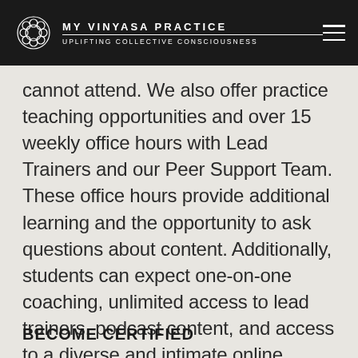MY VINYASA PRACTICE — UPLIFTING COLLECTIVE CONSCIOUSNESS
cannot attend. We also offer practice teaching opportunities and over 15 weekly office hours with Lead Trainers and our Peer Support Team. These office hours provide additional learning and the opportunity to ask questions about content. Additionally, students can expect one-on-one coaching, unlimited access to lead trainers, podcast content, and access to a diverse and intimate online community with members from around the globe.
BECOME CERTIFIED